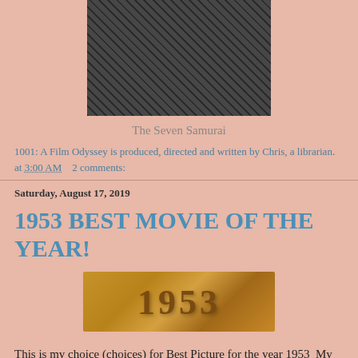[Figure (photo): Black and white photograph of The Seven Samurai]
The Seven Samurai
1001: A Film Odyssey is produced, directed and written by Chris, a librarian. at 3:00 AM    2 comments:
Saturday, August 17, 2019
1953 BEST MOVIE OF THE YEAR!
[Figure (photo): Decorative image of the number 1953 embossed in gold/bronze]
This is my choice (choices) for Best Picture for the year 1953  My criteria is that I can only use films that are on the 1001 list. To make it a little easier on myself, I am using